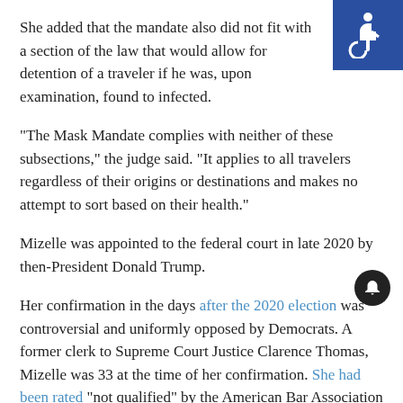She added that the mandate also did not fit with a section of the law that would allow for detention of a traveler if he was, upon examination, found to infected.
"The Mask Mandate complies with neither of these subsections," the judge said. "It applies to all travelers regardless of their origins or destinations and makes no attempt to sort based on their health."
Mizelle was appointed to the federal court in late 2020 by then-President Donald Trump.
Her confirmation in the days after the 2020 election was controversial and uniformly opposed by Democrats. A former clerk to Supreme Court Justice Clarence Thomas, Mizelle was 33 at the time of her confirmation. She had been rated "not qualified" by the American Bar Association for "the short time she has actually practiced law and her lack of meaningful trial experience."
[Figure (illustration): Accessibility icon (wheelchair symbol) in white on dark blue background, top right corner]